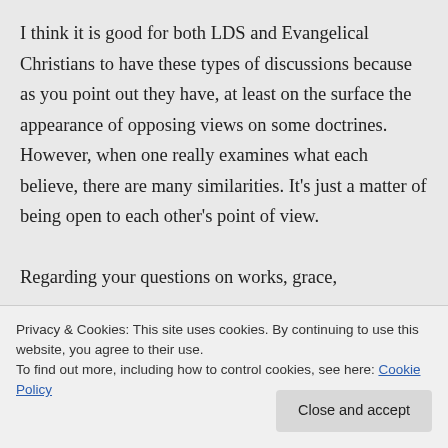I think it is good for both LDS and Evangelical Christians to have these types of discussions because as you point out they have, at least on the surface the appearance of opposing views on some doctrines. However, when one really examines what each believe, there are many similarities. It's just a matter of being open to each other's point of view.

Regarding your questions on works, grace,
Privacy & Cookies: This site uses cookies. By continuing to use this website, you agree to their use.
To find out more, including how to control cookies, see here: Cookie Policy